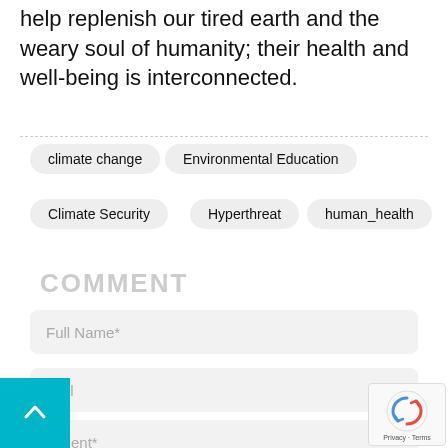help replenish our tired earth and the weary soul of humanity; their health and well-being is interconnected.
climate change
Environmental Education
Climate Security
Hyperthreat
human_health
COMMENT
Full Name*
Mail
mment*